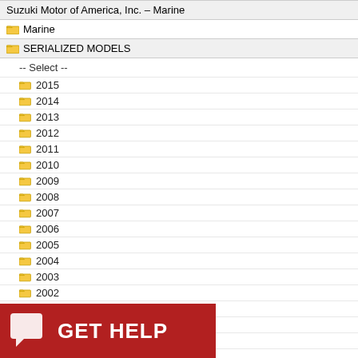Suzuki Motor of America, Inc. – Marine
Marine
SERIALIZED MODELS
-- Select --
2015
2014
2013
2012
2011
2010
2009
2008
2007
2006
2005
2004
2003
2002
2001
2000
1999
1998
1997
1996
[Figure (screenshot): GET HELP button banner in red with chat icon]